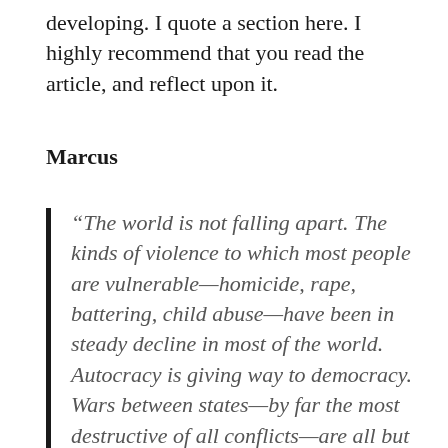developing. I quote a section here. I highly recommend that you read the article, and reflect upon it.
Marcus
“The world is not falling apart. The kinds of violence to which most people are vulnerable—homicide, rape, battering, child abuse—have been in steady decline in most of the world. Autocracy is giving way to democracy. Wars between states—by far the most destructive of all conflicts—are all but obsolete. The increase in the number and deadliness of civil wars since 2010